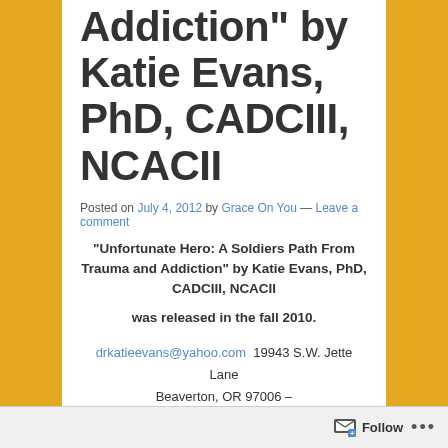Addiction" by Katie Evans, PhD, CADCIII, NCACII
Posted on July 4, 2012 by Grace On You — Leave a comment
“Unfortunate Hero: A Soldiers Path From Trauma and Addiction” by Katie Evans, PhD, CADCIII, NCACII was released in the fall 2010.
drkatieevans@yahoo.com  19943 S.W. Jette Lane Beaverton, OR 97006 –
Phone: 503-756-6117 Fax: 503-524-3778
Follow